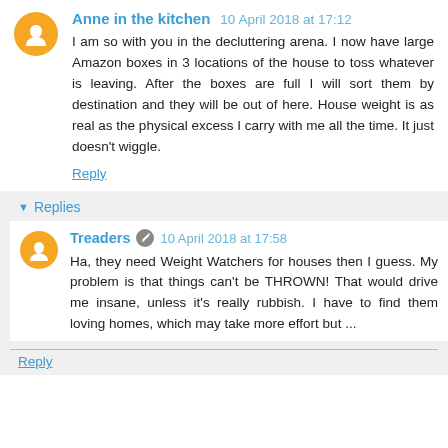Anne in the kitchen  10 April 2018 at 17:12
I am so with you in the decluttering arena. I now have large Amazon boxes in 3 locations of the house to toss whatever is leaving. After the boxes are full I will sort them by destination and they will be out of here. House weight is as real as the physical excess I carry with me all the time. It just doesn't wiggle.
Reply
Replies
Treaders  10 April 2018 at 17:58
Ha, they need Weight Watchers for houses then I guess. My problem is that things can't be THROWN! That would drive me insane, unless it's really rubbish. I have to find them loving homes, which may take more effort but ...
Reply